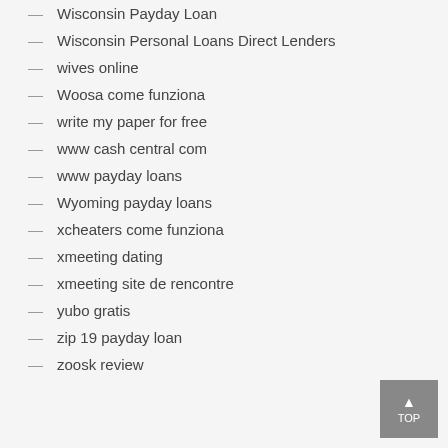Wisconsin Payday Loan
Wisconsin Personal Loans Direct Lenders
wives online
Woosa come funziona
write my paper for free
www cash central com
www payday loans
Wyoming payday loans
xcheaters come funziona
xmeeting dating
xmeeting site de rencontre
yubo gratis
zip 19 payday loan
zoosk review